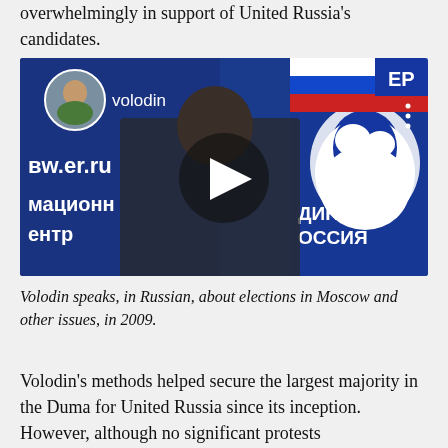overwhelmingly in support of United Russia's candidates.
[Figure (screenshot): Video thumbnail showing Volodin speaking at a United Russia press conference. The background shows a blue banner with the United Russia bear logo and Russian text. A circular profile picture of a woman and the username 'volodin' appear in the top left. A play button triangle is overlaid in the center. Text visible includes 'vw.er.ru', Cyrillic text 'мационн', 'ентр', 'ДИНАЯ', 'ОССИЯ'.]
Volodin speaks, in Russian, about elections in Moscow and other issues, in 2009.
Volodin's methods helped secure the largest majority in the Duma for United Russia since its inception. However, although no significant protests